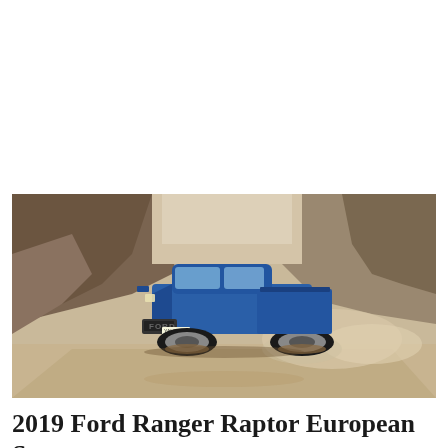[Figure (photo): A blue Ford Ranger Raptor truck is airborne mid-jump on a dusty dirt track, with rocky quarry walls in the background and a cloud of dust trailing behind.]
2019 Ford Ranger Raptor European Spec –